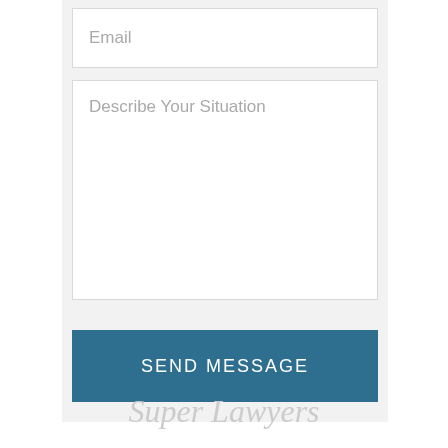Email
Describe Your Situation
SEND MESSAGE
[Figure (logo): Super Lawyers logo in italic serif font, light gray color]